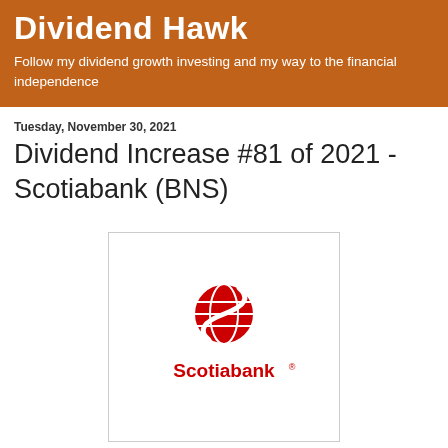Dividend Hawk
Follow my dividend growth investing and my way to the financial independence
Tuesday, November 30, 2021
Dividend Increase #81 of 2021 - Scotiabank (BNS)
[Figure (logo): Scotiabank logo — red S-shaped globe symbol above the word 'Scotiabank' with registered trademark symbol, on white background with light grey border]